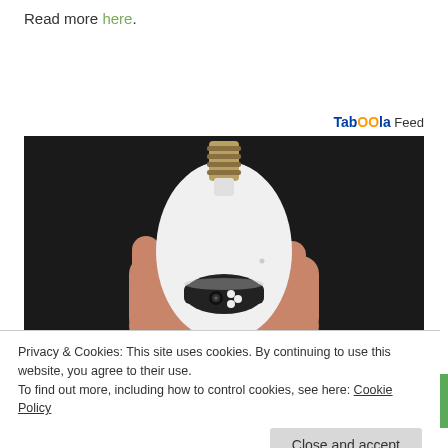Read more here.
[Figure (logo): Taboola Feed logo/label in top right]
[Figure (photo): A hand holding a white smart LED light bulb with a built-in security camera at the bottom, against a dark background]
Privacy & Cookies: This site uses cookies. By continuing to use this website, you agree to their use.
To find out more, including how to control cookies, see here: Cookie Policy
Close and accept